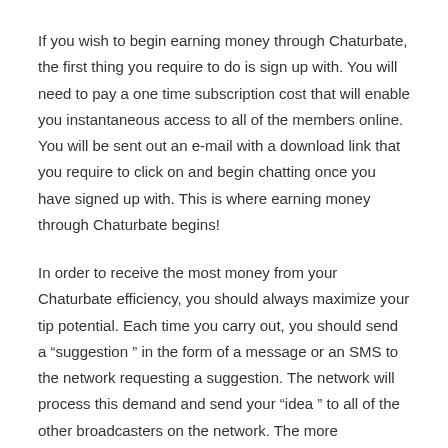If you wish to begin earning money through Chaturbate, the first thing you require to do is sign up with. You will need to pay a one time subscription cost that will enable you instantaneous access to all of the members online. You will be sent out an e-mail with a download link that you require to click on and begin chatting once you have signed up with. This is where earning money through Chaturbate begins!
In order to receive the most money from your Chaturbate efficiency, you should always maximize your tip potential. Each time you carry out, you should send a “suggestion ” in the form of a message or an SMS to the network requesting a suggestion. The network will process this demand and send your “idea ” to all of the other broadcasters on the network. The more suggestions you can send, the more work you will receive.
When you are performing on chaturbate, you can take your